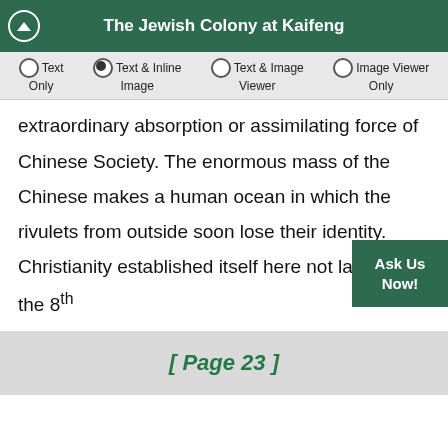The Jewish Colony at Kaifeng
extraordinary absorption or assimilating force of Chinese Society. The enormous mass of the Chinese makes a human ocean in which the rivulets from outside soon lose their identity. Christianity established itself here not later than the 8th
[ Page 23 ]